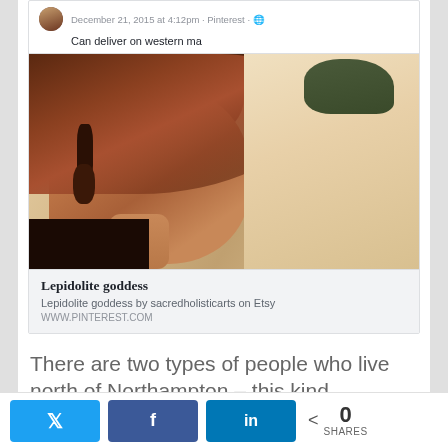December 21, 2015 at 4:12pm · Pinterest · 🌐
Can deliver on western ma
[Figure (photo): Close-up photo of a woman with dark reddish-brown hair, wearing large dark earrings, looking down slightly, against a light background. The image is labeled as 'Lepidolite goddess' from Pinterest/Etsy.]
Lepidolite goddess
Lepidolite goddess by sacredholisticarts on Etsy
WWW.PINTEREST.COM
There are two types of people who live north of Northampton – this kind
[Figure (photo): Partially visible image at bottom of page, appears to be tan/gold colored with blue element on right side]
0 SHARES